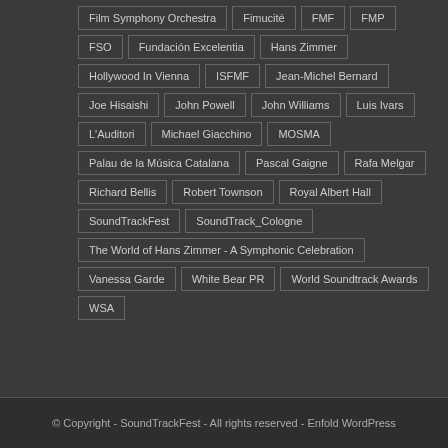Film Symphony Orchestra, Fimucité, FMF, FMP, FSO, Fundación Excelentia, Hans Zimmer, Hollywood In Vienna, ISFMF, Jean-Michel Bernard, Joe Hisaishi, John Powell, John Williams, Luis Ivars, L'Auditori, Michael Giacchino, MOSMA, Palau de la Música Catalana, Pascal Gaigne, Rafa Melgar, Richard Bellis, Robert Townson, Royal Albert Hall, SoundTrackFest, SoundTrack_Cologne, The World of Hans Zimmer - A Symphonic Celebration, Vanessa Garde, White Bear PR, World Soundtrack Awards, WSA
© Copyright - SoundTrackFest - All rights reserved - Enfold WordPress